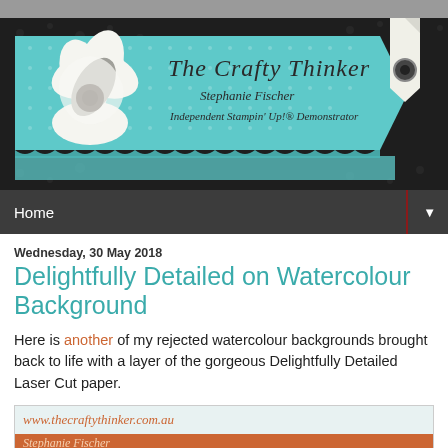[Figure (illustration): Blog header banner for 'The Crafty Thinker' featuring a teal polka-dot ribbon banner with a white flower decoration, dark floral background, and text reading 'The Crafty Thinker', 'Stephanie Fischer', 'Independent Stampin' Up! Demonstrator']
Home
Wednesday, 30 May 2018
Delightfully Detailed on Watercolour Background
Here is another of my rejected watercolour backgrounds brought back to life with a layer of the gorgeous Delightfully Detailed Laser Cut paper.
[Figure (screenshot): Preview image showing www.thecraftythinker.com.au and Stephanie Fischer text]